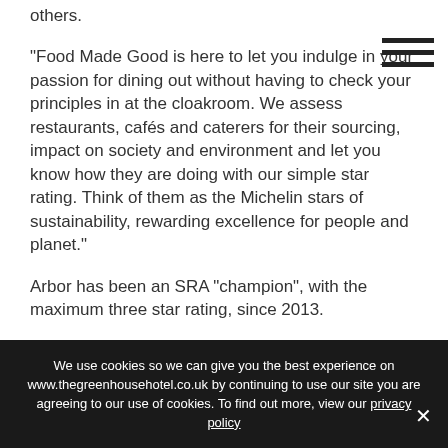others.
“Food Made Good is here to let you indulge in your passion for dining out without having to check your principles in at the cloakroom. We assess restaurants, cafés and caterers for their sourcing, impact on society and environment and let you know how they are doing with our simple star rating. Think of them as the Michelin stars of sustainability, rewarding excellence for people and planet.”
Arbor has been an SRA “champion”, with the maximum three star rating, since 2013.
The “Food Made Good award for Environment” 2016 was presented to the Green House Hotel by SRA
We use cookies so we can give you the best experience on www.thegreenhousehotel.co.uk by continuing to use our site you are agreeing to our use of cookies. To find out more, view our privacy policy